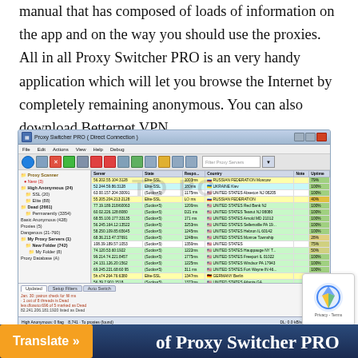manual that has composed of loads of information on the app and on the way you should use the proxies. All in all Proxy Switcher PRO is an very handy application which will let you browse the Internet by completely remaining anonymous. You can also download Betternet VPN.
[Figure (screenshot): Screenshot of Proxy Switcher PRO application showing a list of proxy servers with columns for Server, State, Response time, Country, Note, and Uptime. The left panel shows a tree of proxy categories. The main table shows rows of proxy IP addresses with colored rows indicating different statuses.]
Translate »
of Proxy Switcher PRO